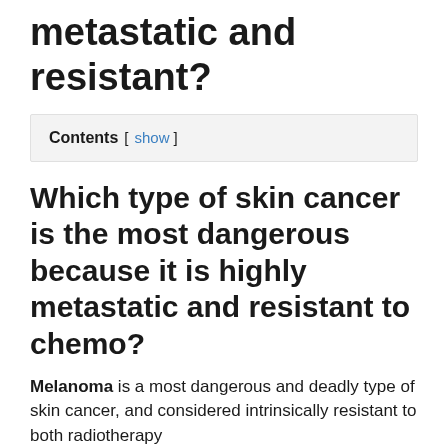metastatic and resistant?
Contents [ show ]
Which type of skin cancer is the most dangerous because it is highly metastatic and resistant to chemo?
Melanoma is a most dangerous and deadly type of skin cancer, and considered intrinsically resistant to both radiotherapy